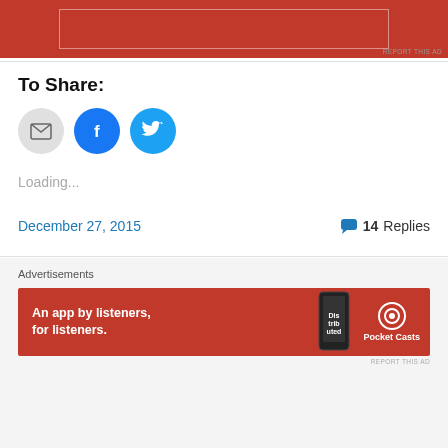[Figure (other): Red advertisement banner (top, partially visible) with white inner border rectangle on red background]
REPORT THIS AD
To Share:
[Figure (other): Three social share buttons: grey email envelope button, blue Facebook button with 'f' logo, light blue Twitter button with bird logo]
Loading...
December 27, 2015   💬 14 Replies
Advertisements
[Figure (other): Pocket Casts advertisement banner: red background, 'An app by listeners, for listeners.' text in white, phone image with 'Distributed' text, Pocket Casts logo]